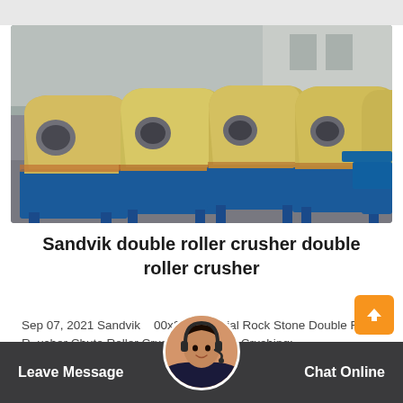[Figure (photo): Multiple Sandvik double roller crusher machines arranged in rows in an industrial warehouse or factory setting. The machines are yellow/beige colored with blue metal bases/frames, photographed from a slightly elevated angle.]
Sandvik double roller crusher double roller crusher
Sep 07, 2021 Sandvik 00x250 Artificial Rock Stone Double Roll R usher Chute Roller Crusher for Stone Crushing: $3,150.00-$3,350.00/
Leave Message   Chat Online